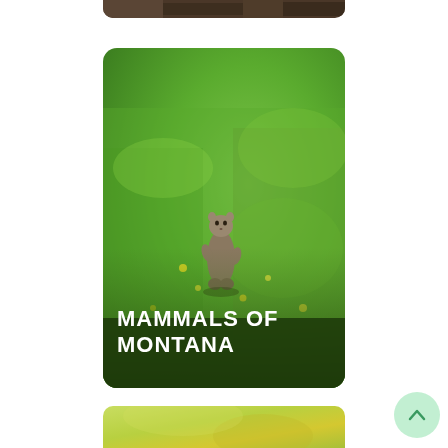[Figure (photo): Partial view of a dark soil/ground image at the top of the page, cropped card]
[Figure (photo): A ground squirrel standing upright on its hind legs in a lush green meadow with yellow wildflowers. The lower portion of the card has a dark green overlay with the text 'MAMMALS OF MONTANA' in bold white capital letters.]
MAMMALS OF MONTANA
[Figure (photo): Partial view of a light yellow-green blurred meadow/grass background at the bottom of the page, beginning of another card]